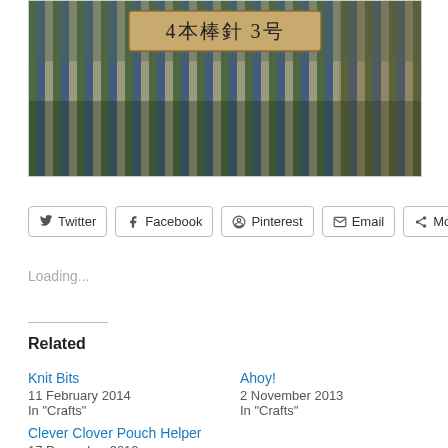[Figure (photo): Photo of colorful knitted fabric in blue, green, and beige stripes with a wooden sign showing Japanese text '4本棒針 3号']
Twitter
Facebook
Pinterest
Email
More
Loading...
Related
Knit Bits
11 February 2014
In "Crafts"
Ahoy!
2 November 2013
In "Crafts"
Clever Clover Pouch Helper
17 December 2012
In "Crafts"